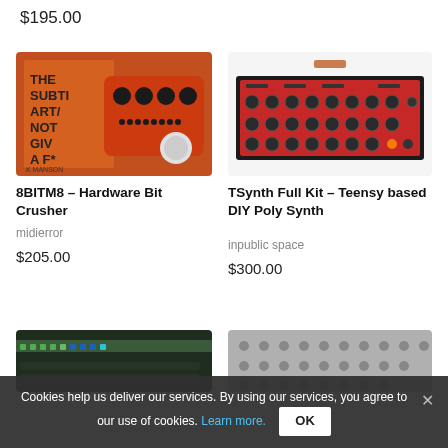$195.00
[Figure (photo): Red guitar pedal (8BITM8 Hardware Bit Crusher) sitting on top of a book titled The Subtle Art of Not Giving a F***, by Mark Manson, on an orange/brown background]
8BITM8 – Hardware Bit Crusher
midierror
$205.00
[Figure (photo): TSynth Full Kit - red synthesizer hardware unit with many knobs and controls on a white background]
TSynth Full Kit – Teensy based DIY Poly Synth
inpublic space
$300.00
[Figure (photo): Dark green/black electronic device, partially visible at bottom left]
[Figure (photo): Gray metal panel with holes, partially visible at bottom right]
Cookies help us deliver our services. By using our services, you agree to our use of cookies. Learn more.